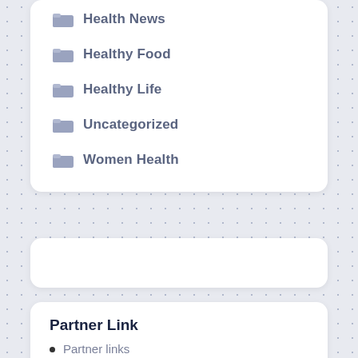Health News
Healthy Food
Healthy Life
Uncategorized
Women Health
Partner Link
Partner links